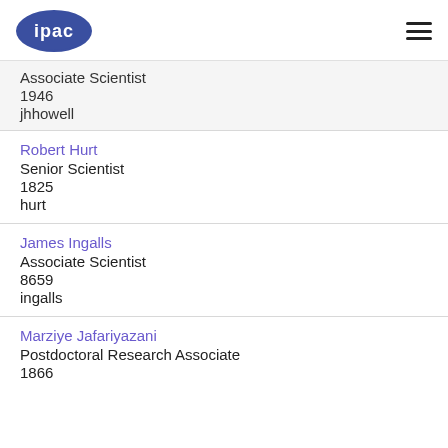ipac [logo] [hamburger menu]
Associate Scientist
1946
jhhowell
Robert Hurt
Senior Scientist
1825
hurt
James Ingalls
Associate Scientist
8659
ingalls
Marziye Jafariyazani
Postdoctoral Research Associate
1866